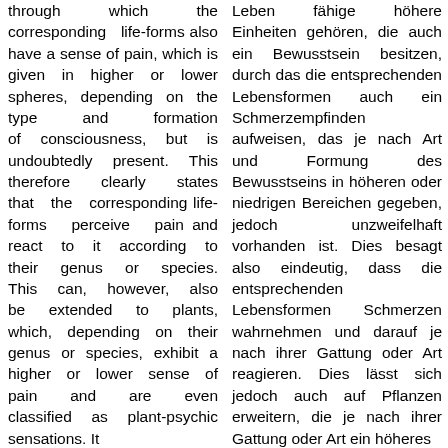through which the corresponding life-forms also have a sense of pain, which is given in higher or lower spheres, depending on the type and formation of consciousness, but is undoubtedly present. This therefore clearly states that the corresponding life-forms perceive pain and react to it according to their genus or species. This can, however, also be extended to plants, which, depending on their genus or species, exhibit a higher or lower sense of pain and are even classified as plant-psychic sensations. It
Leben fähige höhere Einheiten gehören, die auch ein Bewusstsein besitzen, durch das die entsprechenden Lebensformen auch ein Schmerzempfinden aufweisen, das je nach Art und Formung des Bewusstseins in höheren oder niedrigen Bereichen gegeben, jedoch unzweifelhaft vorhanden ist. Dies besagt also eindeutig, dass die entsprechenden Lebensformen Schmerzen wahrnehmen und darauf je nach ihrer Gattung oder Art reagieren. Dies lässt sich jedoch auch auf Pflanzen erweitern, die je nach ihrer Gattung oder Art ein höheres